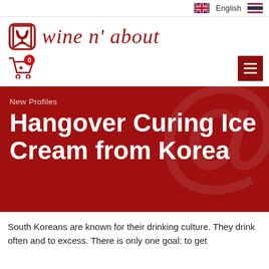English
[Figure (logo): Wine n about logo with wine glass icon and cursive text]
[Figure (infographic): Shopping cart icon with badge showing 0, and dark red hamburger menu button on right]
New Profiles
Hangover Curing Ice Cream from Korea
South Koreans are known for their drinking culture. They drink often and to excess. There is only one goal: to get